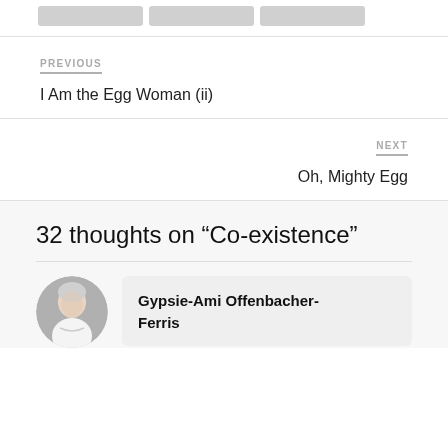[Figure (other): Three partially visible thumbnail images clipped at the top of the page]
PREVIOUS
I Am the Egg Woman (ii)
NEXT
Oh, Mighty Egg
32 thoughts on “Co-existence”
[Figure (photo): Circular avatar photo of a person with short gray/white hair wearing a white shirt]
Gypsie-Ami Offenbacher-Ferris